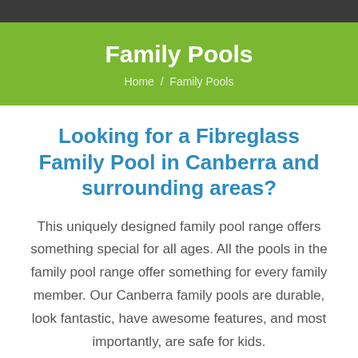Family Pools
Home / Family Pools
Looking for a Fibreglass Family Pool in Canberra and surrounding areas?
This uniquely designed family pool range offers something special for all ages. All the pools in the family pool range offer something for every family member. Our Canberra family pools are durable, look fantastic, have awesome features, and most importantly, are safe for kids.